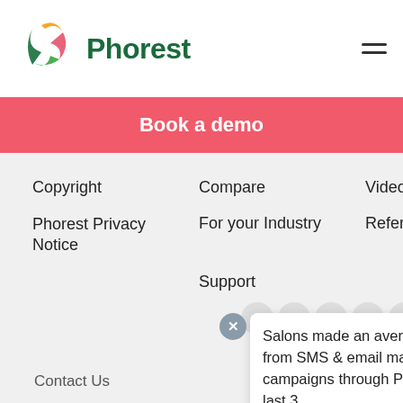[Figure (logo): Phorest logo with colorful P icon and green Phorest text]
Book a demo
Copyright
Compare
Videos
Phorest Privacy Notice
For your Industry
Refer a Salon
Support
Salons made an average of $41.8k from SMS & email marketing campaigns through Phorest in the last 3...
Contact Us